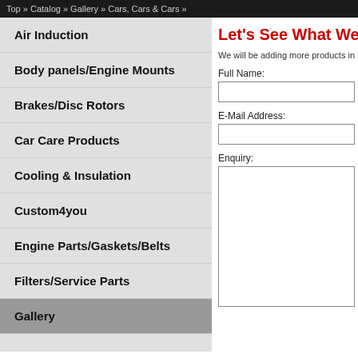Top » Catalog » Gallery » Cars, Cars & Cars »
Air Induction
Body panels/Engine Mounts
Brakes/Disc Rotors
Car Care Products
Cooling & Insulation
Custom4you
Engine Parts/Gaskets/Belts
Filters/Service Parts
Gallery
Let's See What We
We will be adding more products in
Full Name:
E-Mail Address:
Enquiry: